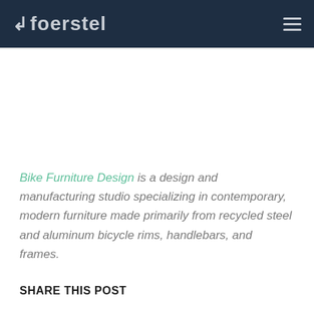foerstel
Bike Furniture Design is a design and manufacturing studio specializing in contemporary, modern furniture made primarily from recycled steel and aluminum bicycle rims, handlebars, and frames.
SHARE THIS POST